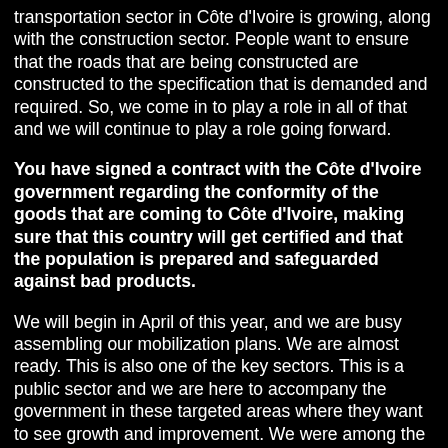transportation sector in Côte d'Ivoire is growing, along with the construction sector. People want to ensure that the roads that are being constructed are constructed to the specification that is demanded and required. So, we come in to play a role in all of that and we will continue to play a role going forward.
You have signed a contract with the Côte d'Ivoire government regarding the conformity of the goods that are coming to Côte d'Ivoire, making sure that this country will get certified and that the population is prepared and safeguarded against bad products.
We will begin in April of this year, and we are busy assembling our mobilization plans. We are almost ready. This is also one of the key sectors. This is a public sector and we are here to accompany the government in these targeted areas where they want to see growth and improvement. We were among the companies that were chosen to provide our service. This is all in an effort to